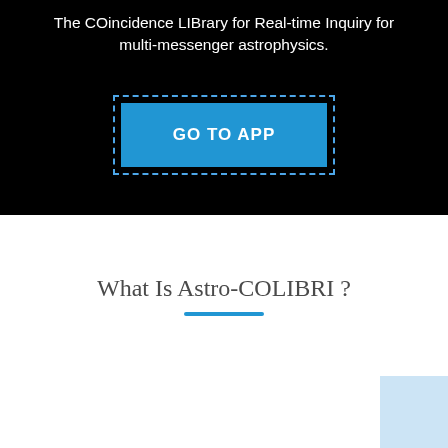The COincidence LIBrary for Real-time Inquiry for multi-messenger astrophysics.
[Figure (other): A blue 'GO TO APP' button with a dashed border outline on a black background]
What Is Astro-COLIBRI ?